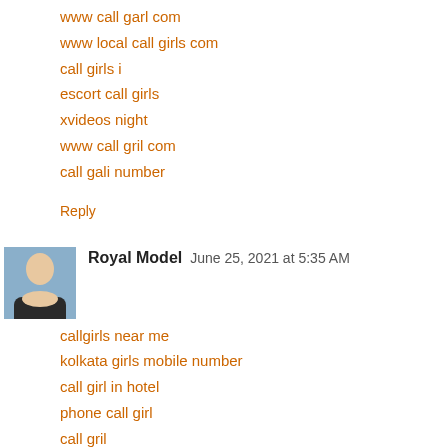www call garl com
www local call girls com
call girls i
escort call girls
xvideos night
www call gril com
call gali number
Reply
Royal Model  June 25, 2021 at 5:35 AM
callgirls near me
kolkata girls mobile number
call girl in hotel
phone call girl
call gril
escort girl com
girl service
service xvideos
sexi call girl
xvideos indian call girls